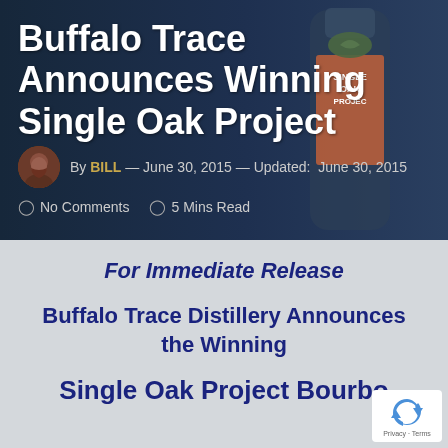[Figure (photo): Hero banner with dark blue background showing a bottle of Single Oak Project Kentucky Straight Bourbon Whiskey]
Buffalo Trace Announces Winning Single Oak Project
By BILL — June 30, 2015 — Updated: June 30, 2015
No Comments   5 Mins Read
For Immediate Release
Buffalo Trace Distillery Announces the Winning
Single Oak Project Bourbon